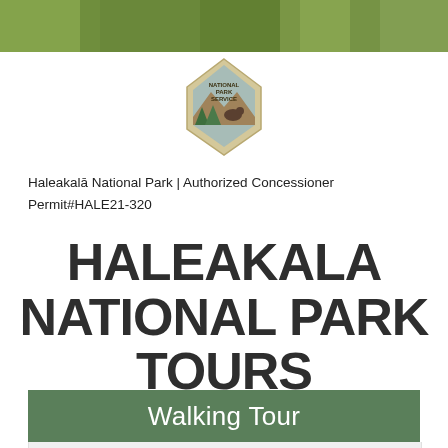[Figure (photo): Green foliage/nature photo banner at top of page]
[Figure (logo): National Park Service arrowhead logo]
Haleakalā National Park | Authorized Concessioner
Permit#HALE21-320
HALEAKALA NATIONAL PARK TOURS
Walking Tour